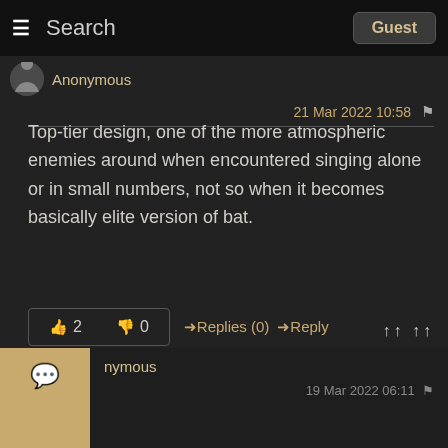Search | Guest
Anonymous
21 Mar 2022 10:58
Top-tier design, one of the more atmospheric enemies around when encountered singing alone or in small numbers, not so when it becomes basically elite version of bat.
👍 2   👎 0   ➜Replies (0)   ➜Reply
nymous
19 Mar 2022 06:11